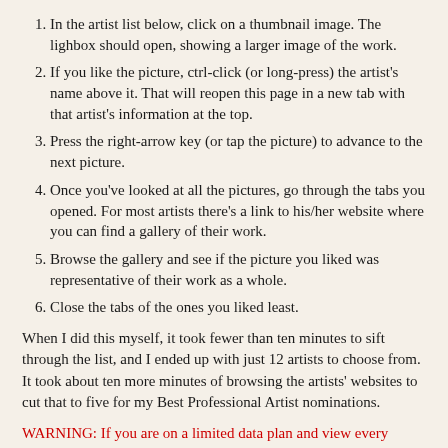In the artist list below, click on a thumbnail image. The lighbox should open, showing a larger image of the work.
If you like the picture, ctrl-click (or long-press) the artist's name above it. That will reopen this page in a new tab with that artist's information at the top.
Press the right-arrow key (or tap the picture) to advance to the next picture.
Once you've looked at all the pictures, go through the tabs you opened. For most artists there's a link to his/her website where you can find a gallery of their work.
Browse the gallery and see if the picture you liked was representative of their work as a whole.
Close the tabs of the ones you liked least.
When I did this myself, it took fewer than ten minutes to sift through the list, and I ended up with just 12 artists to choose from. It took about ten more minutes of browsing the artists' websites to cut that to five for my Best Professional Artist nominations.
WARNING: If you are on a limited data plan and view every picture, the lighbox of all the images may use more than 75 MB